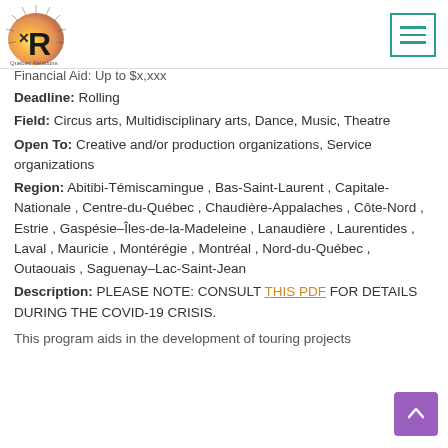Québec Relations
Financial Aid: Up to $x,xxx
Deadline: Rolling
Field: Circus arts, Multidisciplinary arts, Dance, Music, Theatre
Open To: Creative and/or production organizations, Service organizations
Region: Abitibi-Témiscamingue , Bas-Saint-Laurent , Capitale-Nationale , Centre-du-Québec , Chaudière-Appalaches , Côte-Nord , Estrie , Gaspésie–Îles-de-la-Madeleine , Lanaudière , Laurentides , Laval , Mauricie , Montérégie , Montréal , Nord-du-Québec , Outaouais , Saguenay–Lac-Saint-Jean
Description: PLEASE NOTE: CONSULT THIS PDF FOR DETAILS DURING THE COVID-19 CRISIS.
This program aids in the development of touring projects